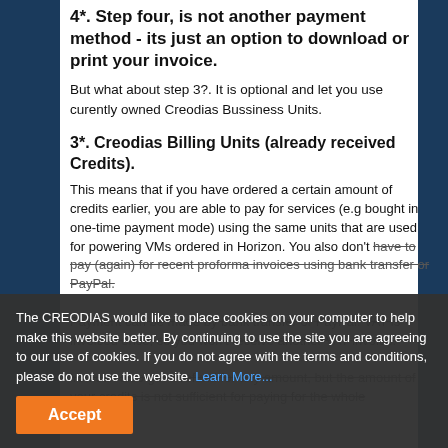4*. Step four, is not another payment method - its just an option to download or print your invoice.
But what about step 3?. It is optional and let you use curently owned Creodias Bussiness Units.
3*. Creodias Billing Units (already received Credits).
This means that if you have ordered a certain amount of credits earlier, you are able to pay for services (e.g bought in one-time payment mode) using the same units that are used for powering VMs ordered in Horizon. You also don't have to pay (again) for recent proforma invoices using bank transfer or PayPal.
The CREODIAS would like to place cookies on your computer to help make this website better. By continuing to use the site you are agreeing to our use of cookies. If you do not agree with the terms and conditions, please do not use the website. Learn More... Accept